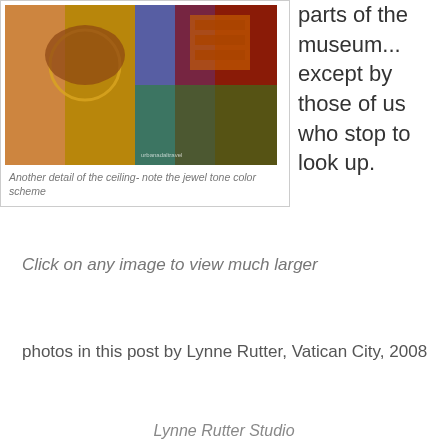[Figure (photo): A detailed photograph of an ornate painted ceiling with jewel-tone colors including blue, gold, red and green, featuring decorative motifs and patterns. Watermark text visible.]
Another detail of the ceiling- note the jewel tone color scheme
parts of the museum... except by those of us who stop to look up.
Click on any image to view much larger
photos in this post by Lynne Rutter, Vatican City, 2008
Lynne Rutter Studio